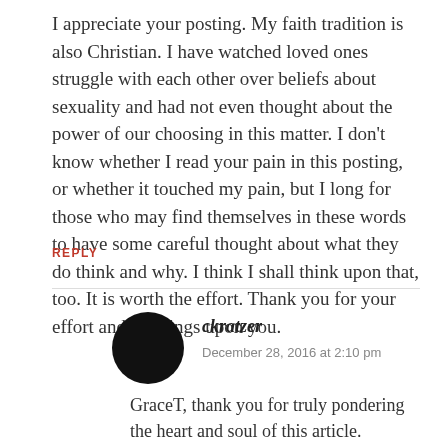I appreciate your posting. My faith tradition is also Christian. I have watched loved ones struggle with each other over beliefs about sexuality and had not even thought about the power of our choosing in this matter. I don't know whether I read your pain in this posting, or whether it touched my pain, but I long for those who may find themselves in these words to have some careful thought about what they do think and why. I think I shall think upon that, too. It is worth the effort. Thank you for your effort and blessings upon you.
REPLY
ckratzer
December 28, 2016 at 2:10 pm
GraceT, thank you for truly pondering the heart and soul of this article.